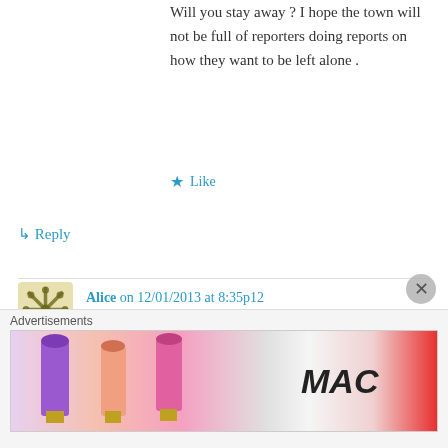Will you stay away ? I hope the town will not be full of reporters doing reports on how they want to be left alone .
★ Like
↳ Reply
Alice on 12/01/2013 at 8:35p12
Any one with common sense will leave the people of Sandy Hook alone, not just for the Holidays, but forever since no good can come from re-hashing the tragedy. It's not just this season, but every day of their lives that they will
[Figure (advertisement): MAC cosmetics advertisement showing lipsticks and a 'SHOP NOW' button]
Advertisements